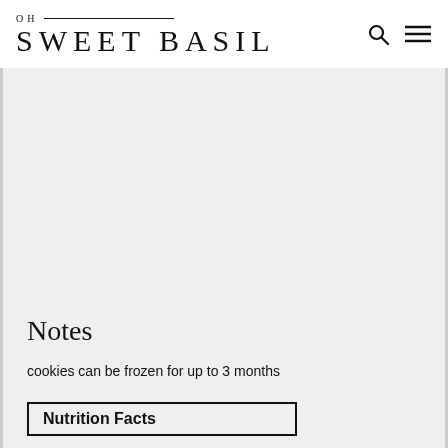OH SWEET BASIL
Notes
cookies can be frozen for up to 3 months
Nutrition Facts